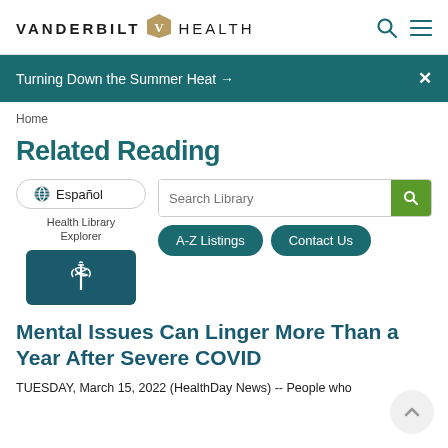VANDERBILT HEALTH
Turning Down the Summer Heat →
Home
Related Reading
Español
Health Library Explorer
Search Library
A-Z Listings
Contact Us
Mental Issues Can Linger More Than a Year After Severe COVID
TUESDAY, March 15, 2022 (HealthDay News) -- People who